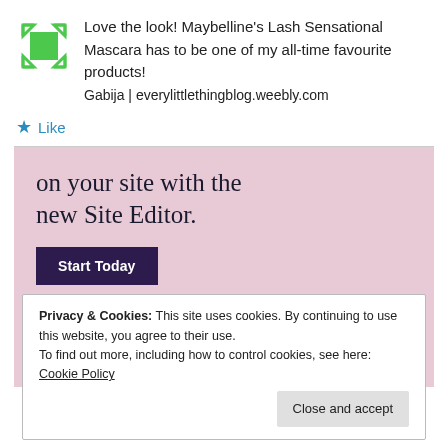Love the look! Maybelline's Lash Sensational Mascara has to be one of my all-time favourite products!
Gabija | everylittlethingblog.weebly.com
★ Like
[Figure (illustration): WordPress.com advertisement with pink background. Headline: 'on your site with the new Site Editor.' Dark purple 'Start Today' button. WordPress.com logo badge in bottom right.]
Privacy & Cookies: This site uses cookies. By continuing to use this website, you agree to their use.
To find out more, including how to control cookies, see here: Cookie Policy